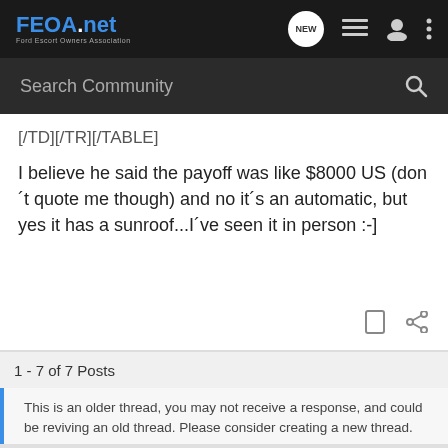FEOA.net Ford Escort Owners Association
[/TD][/TR][/TABLE]
I believe he said the payoff was like $8000 US (don´t quote me though) and no it´s an automatic, but yes it has a sunroof...I´ve seen it in person :-]
1 - 7 of 7 Posts
This is an older thread, you may not receive a response, and could be reviving an old thread. Please consider creating a new thread.